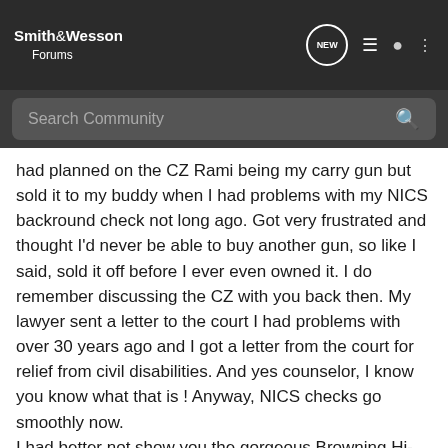Smith & Wesson Forums
had planned on the CZ Rami being my carry gun but sold it to my buddy when I had problems with my NICS backround check not long ago. Got very frustrated and thought I'd never be able to buy another gun, so like I said, sold it off before I ever even owned it. I do remember discussing the CZ with you back then. My lawyer sent a letter to the court I had problems with over 30 years ago and I got a letter from the court for relief from civil disabilities. And yes counselor, I know you know what that is ! Anyway, NICS checks go smoothly now.
I had better not show you the gorgeous Browning Hi-Power Practical I traded for recently....... thanks buddy, Shoo
Sebago Son · Registered